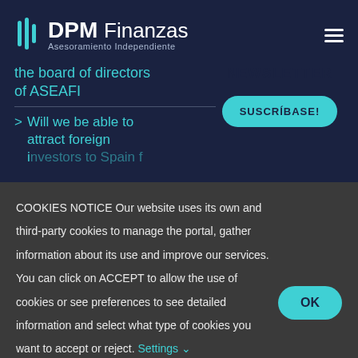DPM Finanzas — Asesoramiento Independiente
the board of directors of ASEAFI
NEWSLETTER
> Will we be able to attract foreign
[Figure (other): SUSCRÍBASE! button — teal rounded button]
COOKIES NOTICE Our website uses its own and third-party cookies to manage the portal, gather information about its use and improve our services. You can click on ACCEPT to allow the use of cookies or see preferences to see detailed information and select what type of cookies you want to accept or reject. Settings ∨
[Figure (other): OK button — teal rounded button]